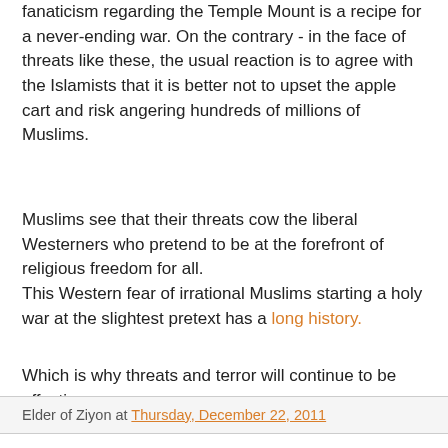fanaticism regarding the Temple Mount is a recipe for a never-ending war. On the contrary - in the face of threats like these, the usual reaction is to agree with the Islamists that it is better not to upset the apple cart and risk angering hundreds of millions of Muslims.
Muslims see that their threats cow the liberal Westerners who pretend to be at the forefront of religious freedom for all.
This Western fear of irrational Muslims starting a holy war at the slightest pretext has a long history.
Which is why threats and terror will continue to be effective.
Elder of Ziyon at Thursday, December 22, 2011